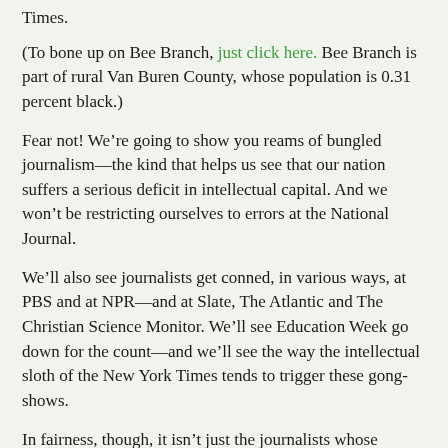Times.
(To bone up on Bee Branch, just click here. Bee Branch is part of rural Van Buren County, whose population is 0.31 percent black.)
Fear not! We’re going to show you reams of bungled journalism—the kind that helps us see that our nation suffers a serious deficit in intellectual capital. And we won’t be restricting ourselves to errors at the National Journal.
We’ll also see journalists get conned, in various ways, at PBS and at NPR—and at Slate, The Atlantic and The Christian Science Monitor. We’ll see Education Week go down for the count—and we’ll see the way the intellectual sloth of the New York Times tends to trigger these gong-shows.
In fairness, though, it isn’t just the journalists whose conduct we’ll be exploring. Tomorrow, we’ll look at what a leading “educational expert” had to say about Question 1 after he was quoted on the front page of the Washington Post. And on Wednesday, we’ll return to the work of those two professors at Penn, an Ivy League institution.